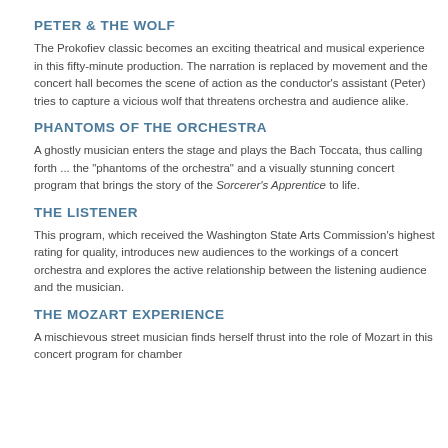PETER & THE WOLF
The Prokofiev classic becomes an exciting theatrical and musical experience in this fifty-minute production. The narration is replaced by movement and the concert hall becomes the scene of action as the conductor's assistant (Peter) tries to capture a vicious wolf that threatens orchestra and audience alike.
PHANTOMS OF THE ORCHESTRA
A ghostly musician enters the stage and plays the Bach Toccata, thus calling forth ... the "phantoms of the orchestra" and a visually stunning concert program that brings the story of the Sorcerer's Apprentice to life.
THE LISTENER
This program, which received the Washington State Arts Commission's highest rating for quality, introduces new audiences to the workings of a concert orchestra and explores the active relationship between the listening audience and the musician.
THE MOZART EXPERIENCE
A mischievous street musician finds herself thrust into the role of Mozart in this concert program for chamber